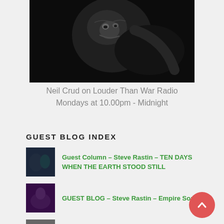[Figure (photo): Black and white close-up photo of a person's face partially obscured, dramatic lighting]
Neil Crud on Louder Than War Radio
Mondays at 10.00pm - Midnight
GUEST BLOG INDEX
[Figure (photo): Small thumbnail image of a band, dark tones, blue/green tint]
Guest Column – Steve Rastin – TEN DAYS WHEN THE EARTH STOOD STILL
[Figure (photo): Small thumbnail image of a live performance, purple/magenta stage lighting]
GUEST BLOG – Steve Rastin – Empire Song
[Figure (photo): Small thumbnail black and white image]
BLOG NEIL CRUD – TudnoT FM